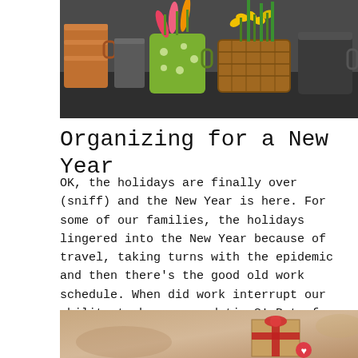[Figure (photo): Photo of copper mugs, a green polka-dot mug with flowers, a wicker basket with yellow flowers, and a dark metal cup arranged on a surface.]
Organizing for a New Year
OK, the holidays are finally over (sniff) and the New Year is here. For some of our families, the holidays lingered into the New Year because of travel, taking turns with the epidemic and then there's the good old work schedule. When did work interrupt our ability to have a good time?! But of course, [...]
[Figure (photo): Photo showing a gift box wrapped in kraft paper with red ribbon on a blurred warm background.]